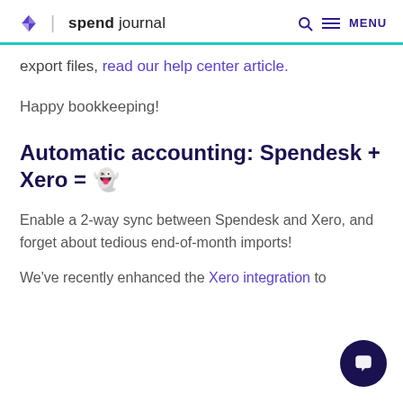| spend journal  MENU
export files, read our help center article.
Happy bookkeeping!
Automatic accounting: Spendesk + Xero = 👻
Enable a 2-way sync between Spendesk and Xero, and forget about tedious end-of-month imports!
We've recently enhanced the Xero integration to